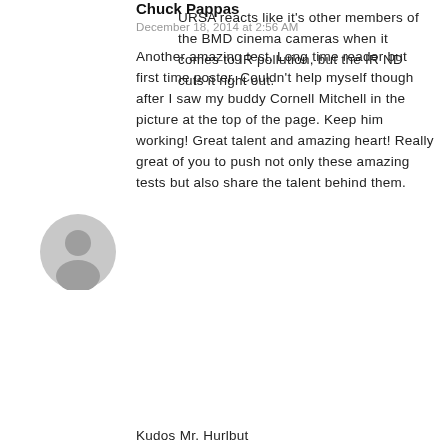URSA reacts like it's other members of the BMD cinema cameras when it comes to IR pollution, but the IR ND cuts it right out.
[Figure (illustration): Gray circular avatar/placeholder user icon for commenter Chuck Pappas]
Chuck Pappas
December 18, 2014 at 2:56 AM
Another amazing test. Long time reader but first time poster. Couldn't help myself though after I saw my buddy Cornell Mitchell in the picture at the top of the page. Keep him working! Great talent and amazing heart! Really great of you to push not only these amazing tests but also share the talent behind them.
Kudos Mr. Hurlbut